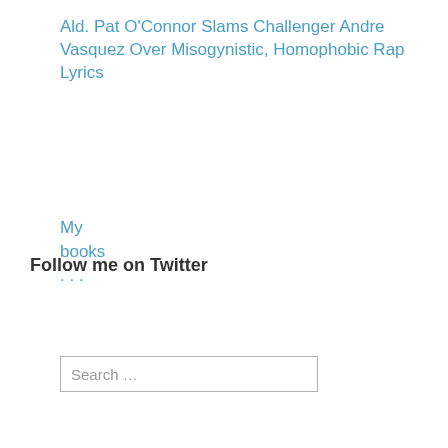Ald. Pat O’Connor Slams Challenger Andre Vasquez Over Misogynistic, Homophobic Rap Lyrics
My books . . .
Search …
Follow me on Twitter